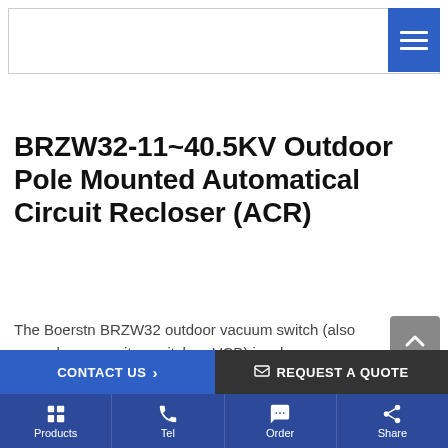BRZW32-11~40.5KV Outdoor Pole Mounted Automatical Circuit Recloser (ACR)
The Boerstn BRZW32 outdoor vacuum switch (also named as capacitor switch or VCB) is a long mechanical life design vacuum switch. It provides an operational life of over 100,000 (30,000 open / close) Free maintenance operation.
CONTACT US  >    REQUEST A QUOTE    Products  Tel  Order  Share